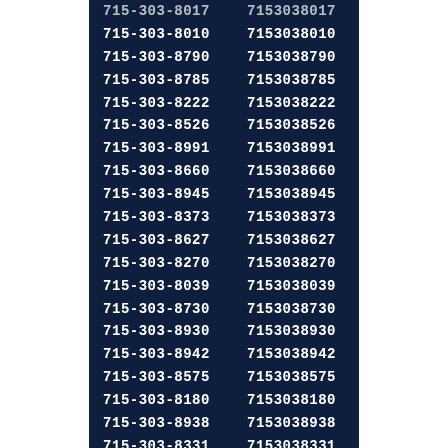| Formatted Number | Raw Number |
| --- | --- |
| 715-303-8017 | 7153038017 |
| 715-303-8010 | 7153038010 |
| 715-303-8790 | 7153038790 |
| 715-303-8785 | 7153038785 |
| 715-303-8222 | 7153038222 |
| 715-303-8526 | 7153038526 |
| 715-303-8991 | 7153038991 |
| 715-303-8660 | 7153038660 |
| 715-303-8945 | 7153038945 |
| 715-303-8373 | 7153038373 |
| 715-303-8627 | 7153038627 |
| 715-303-8270 | 7153038270 |
| 715-303-8039 | 7153038039 |
| 715-303-8730 | 7153038730 |
| 715-303-8930 | 7153038930 |
| 715-303-8942 | 7153038942 |
| 715-303-8575 | 7153038575 |
| 715-303-8180 | 7153038180 |
| 715-303-8938 | 7153038938 |
| 715-303-8331 | 7153038331 |
| 715-303-8894 | 7153038894 |
| 715-303-8809 | 7153038809 |
| 715-303-8931 | 7153038931 |
| 715-303-8771 | 7153038771 |
| 715-303-8028 | 7153038028 |
| 715-303-8752 | 7153038752 |